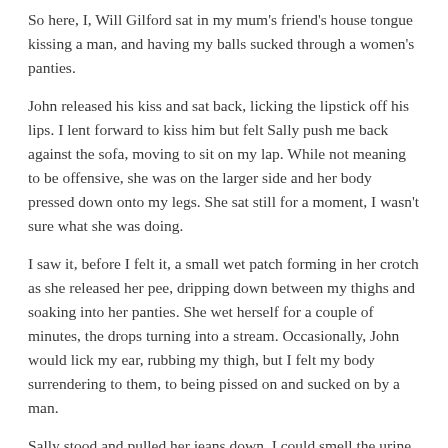So here, I, Will Gilford sat in my mum's friend's house tongue kissing a man, and having my balls sucked through a women's panties.
John released his kiss and sat back, licking the lipstick off his lips. I lent forward to kiss him but felt Sally push me back against the sofa, moving to sit on my lap. While not meaning to be offensive, she was on the larger side and her body pressed down onto my legs. She sat still for a moment, I wasn't sure what she was doing.
I saw it, before I felt it, a small wet patch forming in her crotch as she released her pee, dripping down between my thighs and soaking into her panties. She wet herself for a couple of minutes, the drops turning into a stream. Occasionally, John would lick my ear, rubbing my thigh, but I felt my body surrendering to them, to being pissed on and sucked on by a man.
Sally stood and pulled her jeans down. I could smell the urine drifting from her crotch and see her soaked panties dripping yellow drops onto her feet or my exposed legs.